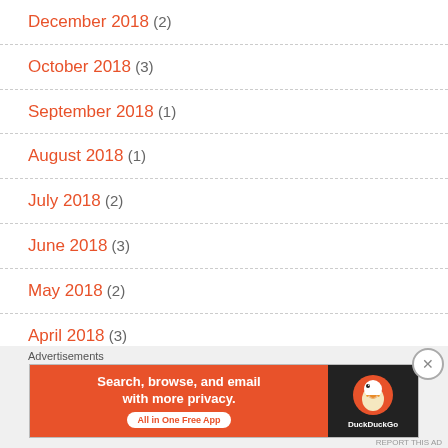December 2018 (2)
October 2018 (3)
September 2018 (1)
August 2018 (1)
July 2018 (2)
June 2018 (3)
May 2018 (2)
April 2018 (3)
March 2018 (3)
[Figure (screenshot): DuckDuckGo advertisement banner: 'Search, browse, and email with more privacy. All in One Free App' with DuckDuckGo logo on dark right panel.]